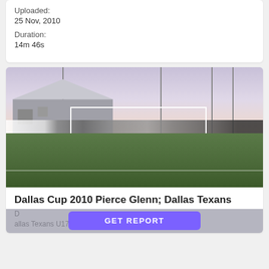Uploaded:
25 Nov, 2010
Duration:
14m 46s
[Figure (photo): Soccer field with white goal post in foreground, cars and a large tent/building structure in background, tall poles visible, dusk/overcast sky]
Dallas Cup 2010 Pierce Glenn; Dallas Texans
Dallas Texans U17 vs. Chic...
GET REPORT